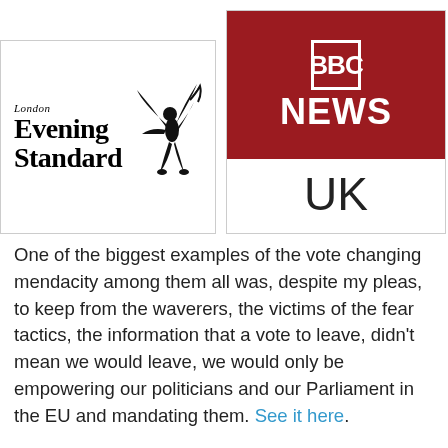[Figure (logo): London Evening Standard newspaper logo with Eros statue figure]
[Figure (logo): BBC News UK logo — red rectangle with BBC blocks and NEWS text, UK below]
One of the biggest examples of the vote changing mendacity among them all was, despite my pleas, to keep from the waverers, the victims of the fear tactics, the information that a vote to leave, didn't mean we would leave, we would only be empowering our politicians and our Parliament in the EU and mandating them. See it here.
From the 25 May I was imploring them to tell the people the truth. To challenge the Remain Crew with